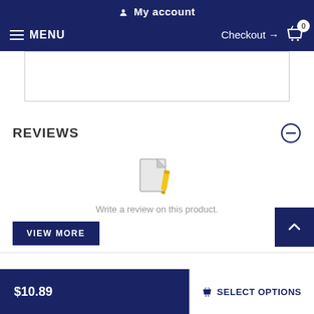My account
MENU  Checkout → 0
[Figure (screenshot): Empty white product image box with border]
REVIEWS
[Figure (illustration): Document/notepad icon with pencil representing write a review]
Write a review on this product.
VIEW MORE
$10.89
SELECT OPTIONS